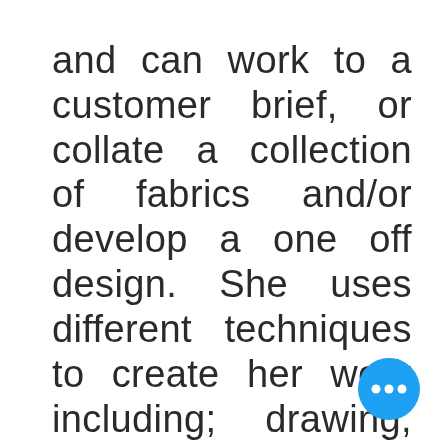and can work to a customer brief, or collate a collection of fabrics and/or develop a one off design. She uses different techniques to create her work including; drawing, sketching and painting. These are then scanned into the computer to create print and weave designs. All designs are
[Figure (other): Blue circular button with three white dots (ellipsis/more options button) in the bottom-right corner]